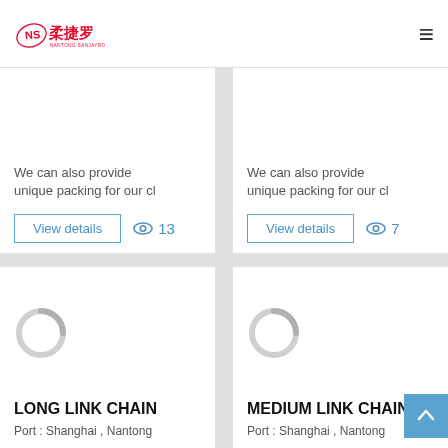Nantong Sanjayro logo and navigation
We can also provide unique packing for our cl
View details  👁 13
We can also provide unique packing for our cl
View details  👁 7
[Figure (illustration): Product image placeholder with loading spinner circle - LONG LINK CHAIN]
LONG LINK CHAIN
Port : Shanghai , Nantong
[Figure (illustration): Product image placeholder with loading spinner circle - MEDIUM LINK CHAIN]
MEDIUM LINK CHAIN
Port : Shanghai , Nantong